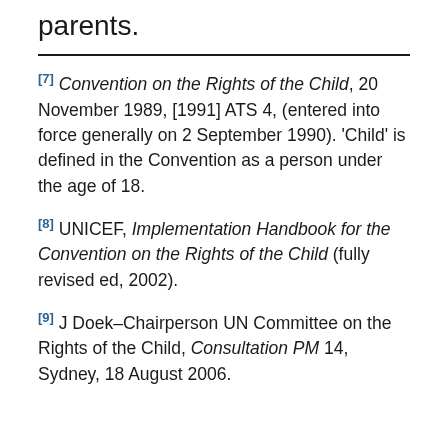parents.
[7] Convention on the Rights of the Child, 20 November 1989, [1991] ATS 4, (entered into force generally on 2 September 1990). 'Child' is defined in the Convention as a person under the age of 18.
[8] UNICEF, Implementation Handbook for the Convention on the Rights of the Child (fully revised ed, 2002).
[9] J Doek–Chairperson UN Committee on the Rights of the Child, Consultation PM 14, Sydney, 18 August 2006.